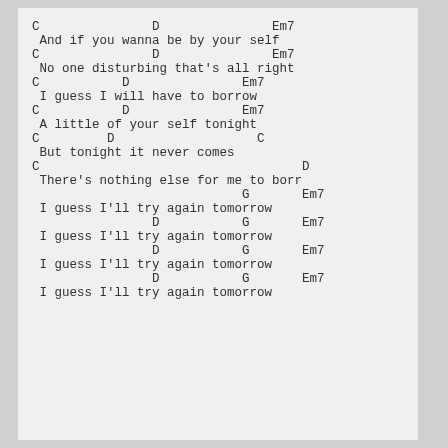C               D               Em7
 And if you wanna be by your self
C               D               Em7
 No one disturbing that's all right
C           D               Em7
 I guess I will have to borrow
C           D               Em7
 A little of your self tonight
C         D                   C
 But tonight it never comes
C                                   D
 There's nothing else for me to borr
                            G       Em7
 I guess I'll try again tomorrow
                D           G       Em7
 I guess I'll try again tomorrow
                D           G       Em7
 I guess I'll try again tomorrow
                D           G       Em7
 I guess I'll try again tomorrow